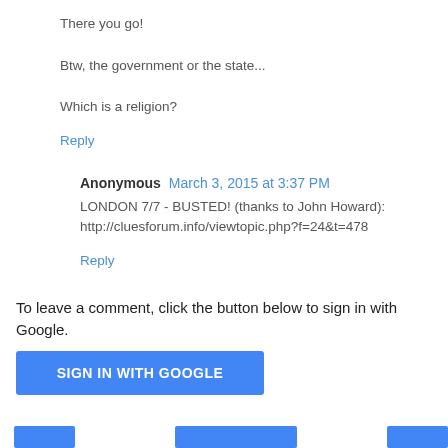There you go!
Btw, the government or the state...
Which is a religion?
Reply
Anonymous  March 3, 2015 at 3:37 PM
LONDON 7/7 - BUSTED! (thanks to John Howard): http://cluesforum.info/viewtopic.php?f=24&t=478
Reply
To leave a comment, click the button below to sign in with Google.
SIGN IN WITH GOOGLE